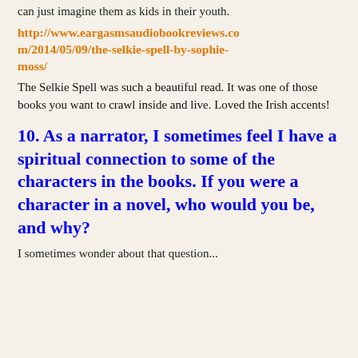can just imagine them as kids in their youth.
http://www.eargasmsaudiobookreviews.com/2014/05/09/the-selkie-spell-by-sophie-moss/
The Selkie Spell was such a beautiful read. It was one of those books you want to crawl inside and live. Loved the Irish accents!
10. As a narrator, I sometimes feel I have a spiritual connection to some of the characters in the books. If you were a character in a novel, who would you be, and why?
I sometimes wonder about that question...